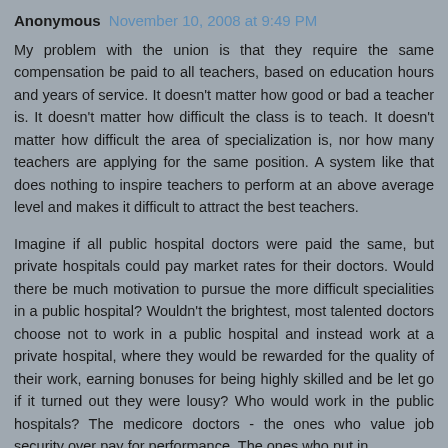Anonymous November 10, 2008 at 9:49 PM
My problem with the union is that they require the same compensation be paid to all teachers, based on education hours and years of service. It doesn't matter how good or bad a teacher is. It doesn't matter how difficult the class is to teach. It doesn't matter how difficult the area of specialization is, nor how many teachers are applying for the same position. A system like that does nothing to inspire teachers to perform at an above average level and makes it difficult to attract the best teachers.
Imagine if all public hospital doctors were paid the same, but private hospitals could pay market rates for their doctors. Would there be much motivation to pursue the more difficult specialities in a public hospital? Wouldn't the brightest, most talented doctors choose not to work in a public hospital and instead work at a private hospital, where they would be rewarded for the quality of their work, earning bonuses for being highly skilled and be let go if it turned out they were lousy? Who would work in the public hospitals? The medicore doctors - the ones who value job security over pay for performance. The ones who put in